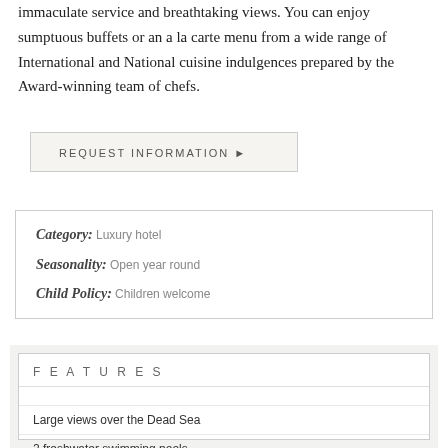immaculate service and breathtaking views. You can enjoy sumptuous buffets or an a la carte menu from a wide range of International and National cuisine indulgences prepared by the Award-winning team of chefs.
REQUEST INFORMATION ▶
| Category: | Luxury hotel |
| Seasonality: | Open year round |
| Child Policy: | Children welcome |
FEATURES
Large views over the Dead Sea
2 freshwater swimming pools